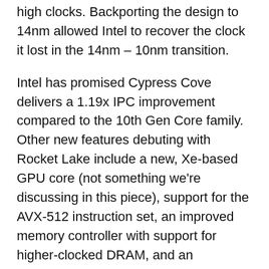…was built on 10nm and wasn't capable of reaching high clocks. Backporting the design to 14nm allowed Intel to recover the clock it lost in the 14nm – 10nm transition.
Intel has promised Cypress Cove delivers a 1.19x IPC improvement compared to the 10th Gen Core family. Other new features debuting with Rocket Lake include a new, Xe-based GPU core (not something we're discussing in this piece), support for the AVX-512 instruction set, an improved memory controller with support for higher-clocked DRAM, and an additional four lanes of CPU-attached PCIe 4.0 storage relative to what's available on the Core i9-10900K. Rocket Lake also uses an x8 PCIe 3.0 chipset link if paired with a 500-series chipset. 10th Gen CPUs installed in the same boards use x4 links.